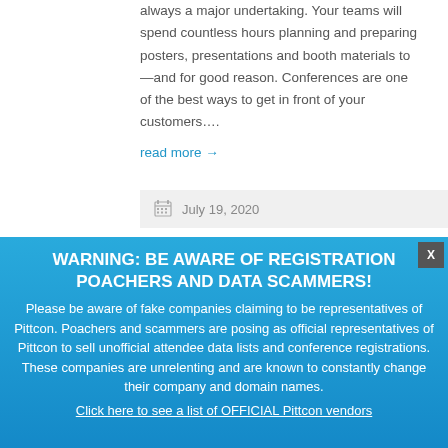always a major undertaking. Your teams will spend countless hours planning and preparing posters, presentations and booth materials to —and for good reason. Conferences are one of the best ways to get in front of your customers….
read more →
July 19, 2020
WARNING: BE AWARE OF REGISTRATION POACHERS AND DATA SCAMMERS!
Please be aware of fake companies claiming to be representatives of Pittcon. Poachers and scammers are posing as official representatives of Pittcon to sell unofficial attendee data lists and conference registrations. These companies are unrelenting and are known to constantly change their company and domain names.
Click here to see a list of OFFICIAL Pittcon vendors